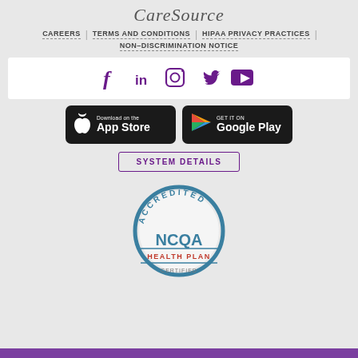CareSource
CAREERS
TERMS AND CONDITIONS
HIPAA PRIVACY PRACTICES
NON-DISCRIMINATION NOTICE
[Figure (infographic): Social media icons: Facebook (f), LinkedIn (in), Instagram (camera), Twitter (bird), YouTube (play)]
[Figure (infographic): Download on the App Store button (Apple logo, dark background)]
[Figure (infographic): Get it on Google Play button (colorful play icon, dark background)]
SYSTEM DETAILS
[Figure (logo): NCQA Accredited Health Plan badge - circular seal with teal/blue border, NCQA text in center, HEALTH PLAN below, ACCREDITED arc at top]